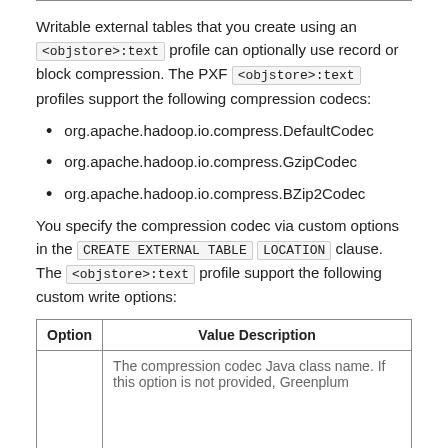Writable external tables that you create using an <objstore>:text profile can optionally use record or block compression. The PXF <objstore>:text profiles support the following compression codecs:
org.apache.hadoop.io.compress.DefaultCodec
org.apache.hadoop.io.compress.GzipCodec
org.apache.hadoop.io.compress.BZip2Codec
You specify the compression codec via custom options in the CREATE EXTERNAL TABLE LOCATION clause. The <objstore>:text profile support the following custom write options:
| Option | Value Description |
| --- | --- |
|  | The compression codec Java class name. If this option is not provided, Greenplum |